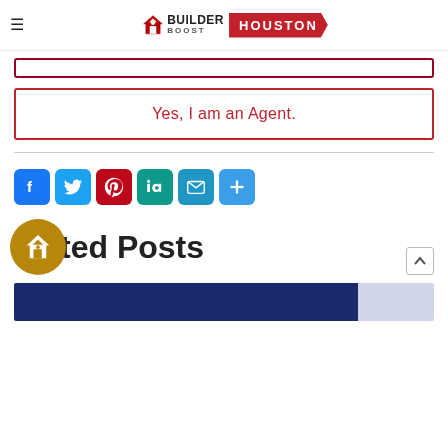Builder Boost Houston
[Figure (logo): Builder Boost Houston logo with hamburger menu icon on left and Houston in red banner]
Yes, I am an Agent.
[Figure (infographic): Social share icons: Facebook (blue), Twitter (light blue), Pinterest (red), LinkedIn (teal), Email (blue), More/Plus (blue)]
Related Posts
[Figure (photo): Partial preview of a related post thumbnail image in dark blue]